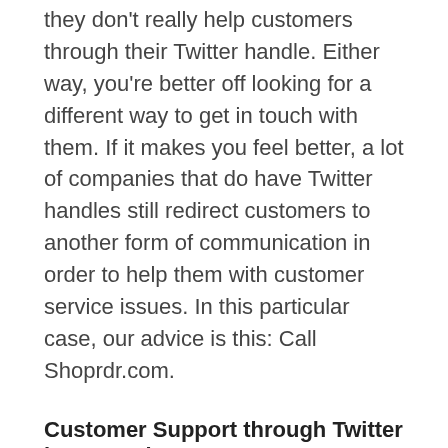they don't really help customers through their Twitter handle. Either way, you're better off looking for a different way to get in touch with them. If it makes you feel better, a lot of companies that do have Twitter handles still redirect customers to another form of communication in order to help them with customer service issues. In this particular case, our advice is this: Call Shoprdr.com.
Customer Support through Twitter in General
While we don't know of a Twitter username for Shoprdr.com, in general we do support helping you find a way to contact companies over Twitter for the purposes of handling customer service problems. With our problem-specific help tools, we help you create a page for your issue and then one-click to